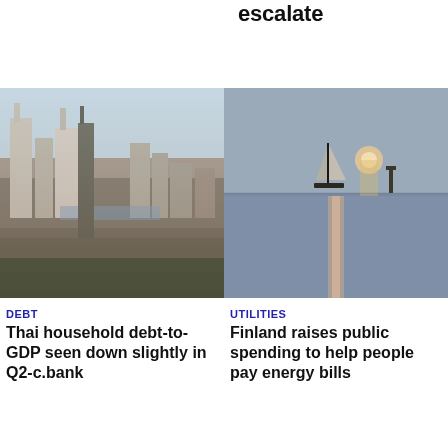escalate
[Figure (photo): Aerial view of Bangkok cityscape with skyscrapers and river]
DEBT
Thai household debt-to-GDP seen down slightly in Q2-c.bank
[Figure (photo): Sailboat on calm sea at dusk with reflection of light on water]
UTILITIES
Finland raises public spending to help people pay energy bills